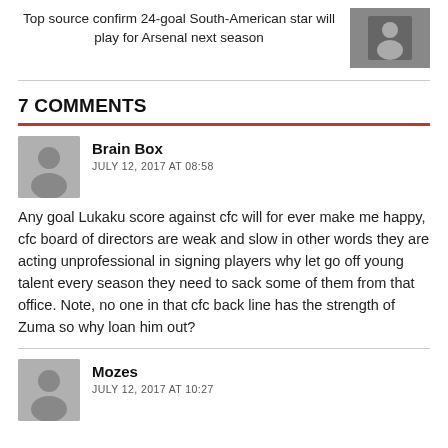Top source confirm 24-goal South-American star will play for Arsenal next season
[Figure (photo): Two people standing on a football pitch]
7 COMMENTS
Brain Box
JULY 12, 2017 AT 08:58
Any goal Lukaku score against cfc will for ever make me happy, cfc board of directors are weak and slow in other words they are acting unprofessional in signing players why let go off young talent every season they need to sack some of them from that office. Note, no one in that cfc back line has the strength of Zuma so why loan him out?
Mozes
JULY 12, 2017 AT 10:27